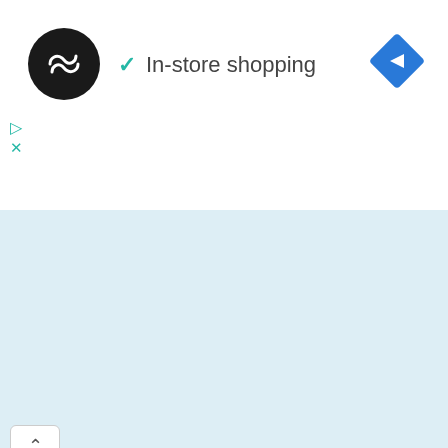[Figure (logo): Black circular logo with infinity/double-arrow symbol in white]
✓ In-store shopping
[Figure (other): Blue diamond navigation icon with white right-turn arrow]
[Figure (other): Ad play/close icons (triangle play and X)]
[Figure (other): Collapse/up-chevron button]
Dark History Podcast
etymology
Kindle
Podcast
Prayer
Pressure Cooker Recipes
Quickhits
Race and Racism
Resurrection
spiritual gifts
Uncategorized